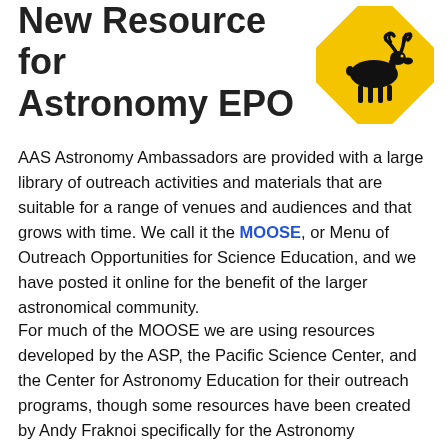New Resource for Astronomy EPO
[Figure (illustration): Yellow diamond-shaped caution sign with black silhouette of a moose walking right]
AAS Astronomy Ambassadors are provided with a large library of outreach activities and materials that are suitable for a range of venues and audiences and that grows with time. We call it the MOOSE, or Menu of Outreach Opportunities for Science Education, and we have posted it online for the benefit of the larger astronomical community.
For much of the MOOSE we are using resources developed by the ASP, the Pacific Science Center, and the Center for Astronomy Education for their outreach programs, though some resources have been created by Andy Fraknoi specifically for the Astronomy Ambassadors program.